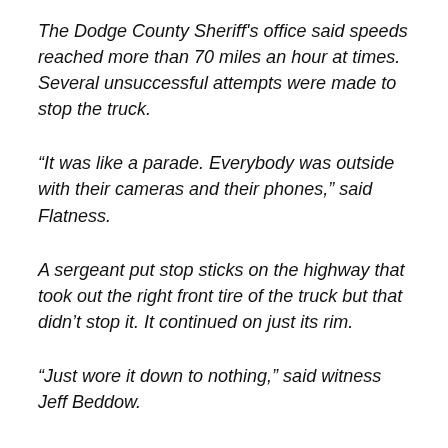The Dodge County Sheriff's office said speeds reached more than 70 miles an hour at times. Several unsuccessful attempts were made to stop the truck.
“It was like a parade. Everybody was outside with their cameras and their phones,” said Flatness.
A sergeant put stop sticks on the highway that took out the right front tire of the truck but that didn’t stop it. It continued on just its rim.
“Just wore it down to nothing,” said witness Jeff Beddow.